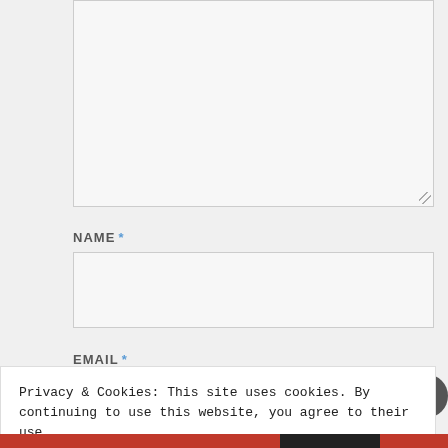[Figure (screenshot): Textarea input box (comment field) with resize handle at bottom-right, light gray background]
NAME *
[Figure (screenshot): Name text input field, empty, light gray background with border]
EMAIL *
[Figure (screenshot): Email text input field, partially visible, light gray background with border]
Privacy & Cookies: This site uses cookies. By continuing to use this website, you agree to their use.
To find out more, including how to control cookies, see here: Cookie Policy
Close and accept